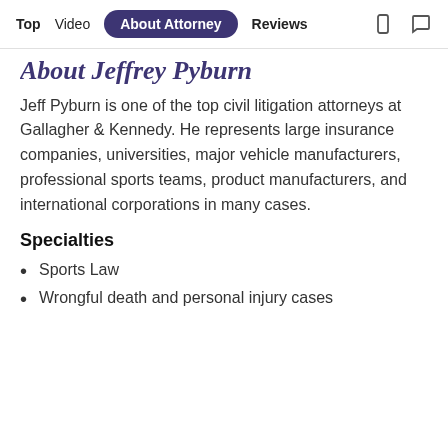Top  Video  About Attorney  Reviews
About Jeffrey Pyburn
Jeff Pyburn is one of the top civil litigation attorneys at Gallagher & Kennedy. He represents large insurance companies, universities, major vehicle manufacturers, professional sports teams, product manufacturers, and international corporations in many cases.
Specialties
Sports Law
Wrongful death and personal injury cases